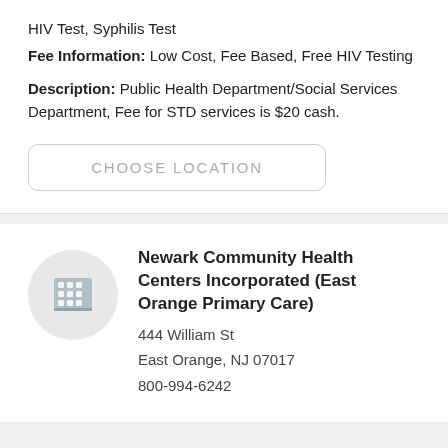HIV Test, Syphilis Test
Fee Information: Low Cost, Fee Based, Free HIV Testing
Description: Public Health Department/Social Services Department, Fee for STD services is $20 cash.
CHOOSE LOCATION
Newark Community Health Centers Incorporated (East Orange Primary Care)
444 William St
East Orange, NJ 07017
800-994-6242